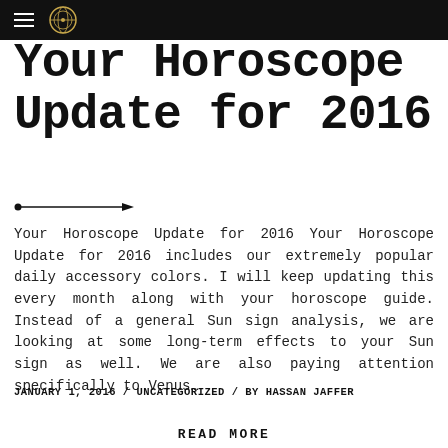Your Horoscope Update for 2016
Your Horoscope Update for 2016
Your Horoscope Update for 2016 Your Horoscope Update for 2016 includes our extremely popular daily accessory colors. I will keep updating this every month along with your horoscope guide. Instead of a general Sun sign analysis, we are looking at some long-term effects to your Sun sign as well. We are also paying attention specifically to Venus…
JANUARY 1, 2016 / UNCATEGORIZED / BY HASSAN JAFFER
READ MORE